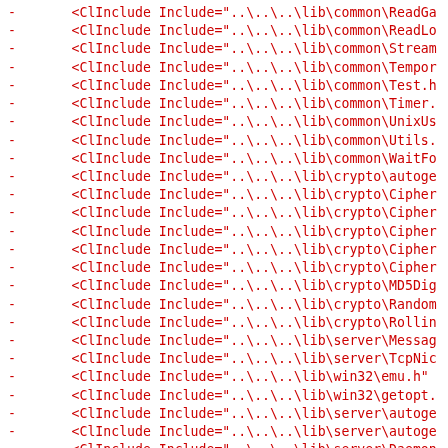- <ClInclude Include="..\..\..\lib\common\ReadGa
- <ClInclude Include="..\..\..\lib\common\ReadLo
- <ClInclude Include="..\..\..\lib\common\Stream
- <ClInclude Include="..\..\..\lib\common\Tempor
- <ClInclude Include="..\..\..\lib\common\Test.h
- <ClInclude Include="..\..\..\lib\common\Timer.
- <ClInclude Include="..\..\..\lib\common\UnixUs
- <ClInclude Include="..\..\..\lib\common\Utils.
- <ClInclude Include="..\..\..\lib\common\WaitFo
- <ClInclude Include="..\..\..\lib\crypto\autoge
- <ClInclude Include="..\..\..\lib\crypto\Cipher
- <ClInclude Include="..\..\..\lib\crypto\Cipher
- <ClInclude Include="..\..\..\lib\crypto\Cipher
- <ClInclude Include="..\..\..\lib\crypto\Cipher
- <ClInclude Include="..\..\..\lib\crypto\Cipher
- <ClInclude Include="..\..\..\lib\crypto\MD5Dig
- <ClInclude Include="..\..\..\lib\crypto\Random
- <ClInclude Include="..\..\..\lib\crypto\Rollin
- <ClInclude Include="..\..\..\lib\server\Messag
- <ClInclude Include="..\..\..\lib\server\TcpNic
- <ClInclude Include="..\..\..\lib\win32\emu.h"
- <ClInclude Include="..\..\..\lib\win32\getopt.
- <ClInclude Include="..\..\..\lib\server\autoge
- <ClInclude Include="..\..\..\lib\server\autoge
- <ClInclude Include="..\..\..\lib\server\Daemon
- <ClInclude Include="..\..\..\lib\server\Protoc
- <ClInclude Include="..\..\..\lib\server\Protoc
- <ClInclude Include="..\..\..\lib\server\Protoc
- <ClInclude Include="..\..\..\lib\server\Server
- <ClInclude Include="..\..\..\lib\server\Server